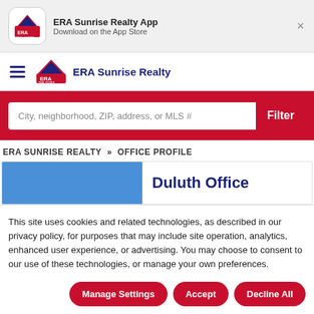[Figure (screenshot): ERA Sunrise Realty app banner with logo, app name, App Store download text, and close button]
[Figure (logo): ERA Real Estate logo with hamburger menu and ERA Sunrise Realty brand name in navigation bar]
City, neighborhood, ZIP, address, or MLS #
Filter
ERA SUNRISE REALTY >> OFFICE PROFILE
Duluth Office
This site uses cookies and related technologies, as described in our privacy policy, for purposes that may include site operation, analytics, enhanced user experience, or advertising. You may choose to consent to our use of these technologies, or manage your own preferences.
Manage Settings
Accept
Decline All